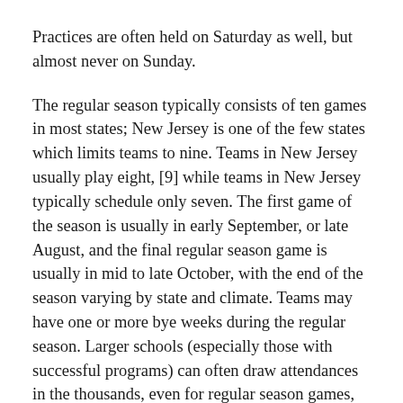Practices are often held on Saturday as well, but almost never on Sunday.
The regular season typically consists of ten games in most states; New Jersey is one of the few states which limits teams to nine. Teams in New Jersey usually play eight, [9] while teams in New Jersey typically schedule only seven. The first game of the season is usually in early September, or late August, and the final regular season game is usually in mid to late October, with the end of the season varying by state and climate. Teams may have one or more bye weeks during the regular season. Larger schools (especially those with successful programs) can often draw attendances in the thousands, even for regular season games, and in some cases may play the game at a college